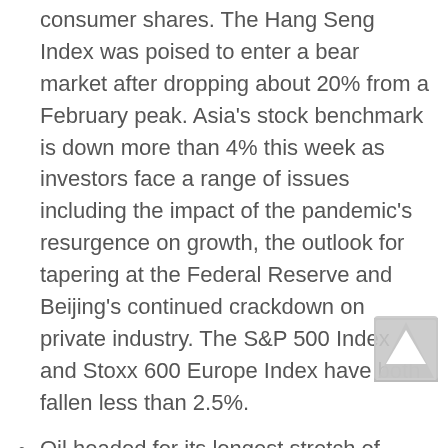consumer shares. The Hang Seng Index was poised to enter a bear market after dropping about 20% from a February peak. Asia's stock benchmark is down more than 4% this week as investors face a range of issues including the impact of the pandemic's resurgence on growth, the outlook for tapering at the Federal Reserve and Beijing's continued crackdown on private industry. The S&P 500 Index and Stoxx 600 Europe Index have both fallen less than 2.5%.
Oil headed for its longest stretch of daily declines since 2019 as the U.S. Federal Reserve's signal it will start tapering stimulus promoted a rally in the dollar, and concerns continue to mount about global energy demand. West Texas Intermediate futures fell for a seventh day,